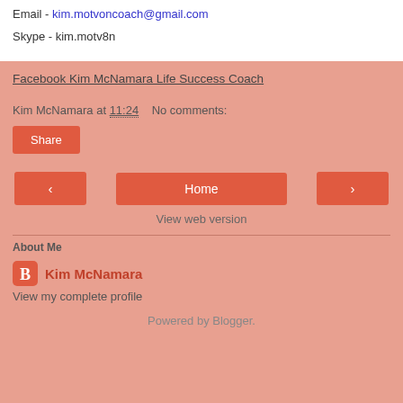Email - kim.motvoncoach@gmail.com
Skype - kim.motv8n
Facebook Kim McNamara Life Success Coach
Kim McNamara at 11:24   No comments:
Share
‹  Home  ›
View web version
About Me
Kim McNamara
View my complete profile
Powered by Blogger.